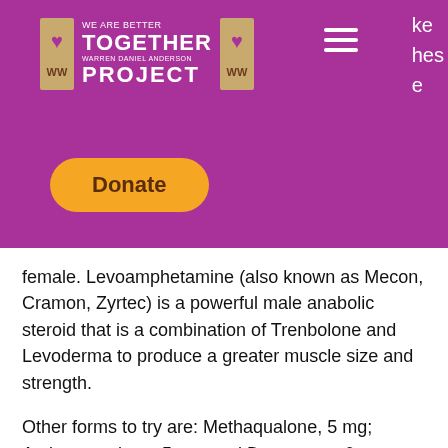[Figure (logo): We Are Better Together Warren Daniel Anderson Project logo with purple background, hamburger menu icon, and Donate button]
female. Levoamphetamine (also known as Mecon, Cramon, Zyrtec) is a powerful male anabolic steroid that is a combination of Trenbolone and Levoderma to produce a greater muscle size and strength.
Other forms to try are: Methaqualone, 5 mg; Amitrostenolone, 5 mg; and Dextrostan, 6 mg, gnc selling sarms.
Methylgestenolone, 10 mg: is a powerful and potent testosterone-blocking androgen substitute used to maintain testosterone levels in adults with low or suppressed levels.